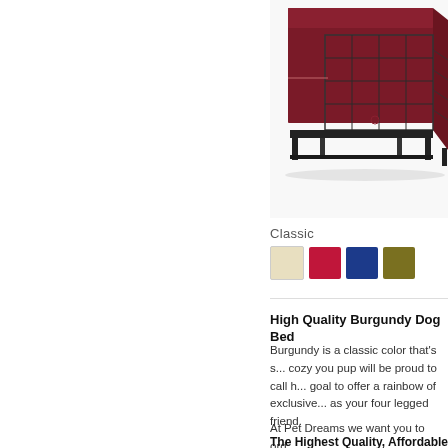[Figure (photo): Burgundy dog crate cover on a wire dog kennel/crate, shown at an angle on a white background. The cover is a deep red/burgundy color with a light dividing line mid-height.]
Classic
[Figure (other): Four color swatches in a row: beige/cream, red/crimson, navy blue, and olive/dark yellow-green]
High Quality Burgundy Dog Bed
Burgundy is a classic color that's s... cozy you pup will be proud to call h... goal to offer a rainbow of exclusive... as your four legged friend.
At Pet Dreams we want you to ord...
The Highest Quality, Affordable...
Why break the bank buying a...